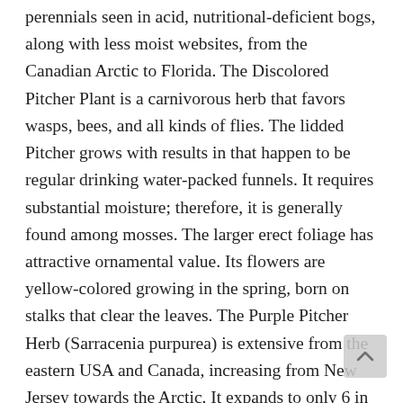perennials seen in acid, nutritional-deficient bogs, along with less moist websites, from the Canadian Arctic to Florida. The Discolored Pitcher Plant is a carnivorous herb that favors wasps, bees, and all kinds of flies. The lidded Pitcher grows with results in that happen to be regular drinking water-packed funnels. It requires substantial moisture; therefore, it is generally found among mosses. The larger erect foliage has attractive ornamental value. Its flowers are yellow-colored growing in the spring, born on stalks that clear the leaves. The Purple Pitcher Herb (Sarracenia purpurea) is extensive from the eastern USA and Canada, increasing from New Jersey towards the Arctic. It expands to only 6 in (15 cm) in height. The pitchers are slender on the basal rosette, quickly becoming inflamed more sign up. They may be usually